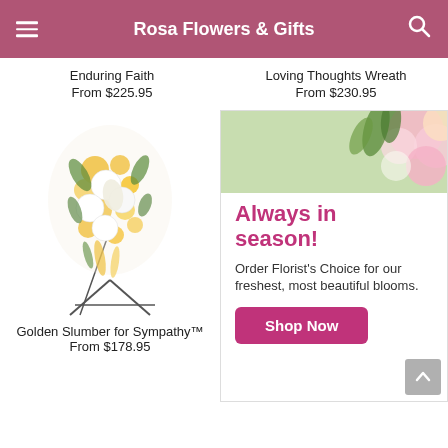Rosa Flowers & Gifts
Enduring Faith
From $225.95
Loving Thoughts Wreath
From $230.95
[Figure (photo): Yellow and white floral arrangement on a metal easel stand — Golden Slumber for Sympathy]
Golden Slumber for Sympathy™
From $178.95
[Figure (infographic): Advertisement banner with pink flowers in top-right corner. Text: Always in season! Order Florist's Choice for our freshest, most beautiful blooms. Shop Now button in pink.]